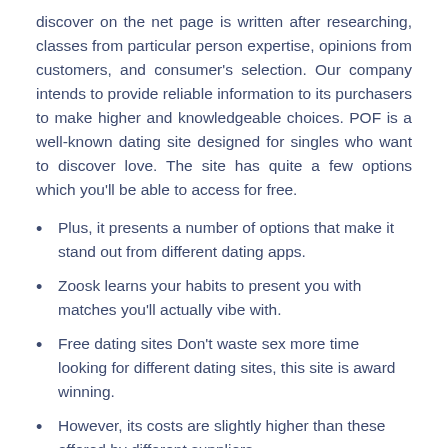discover on the net page is written after researching, classes from particular person expertise, opinions from customers, and consumer's selection. Our company intends to provide reliable information to its purchasers to make higher and knowledgeable choices. POF is a well-known dating site designed for singles who want to discover love. The site has quite a few options which you'll be able to access for free.
Plus, it presents a number of options that make it stand out from different dating apps.
Zoosk learns your habits to present you with matches you'll actually vibe with.
Free dating sites Don't waste sex more time looking for different dating sites, this site is award winning.
However, its costs are slightly higher than these offered by different suppliers.